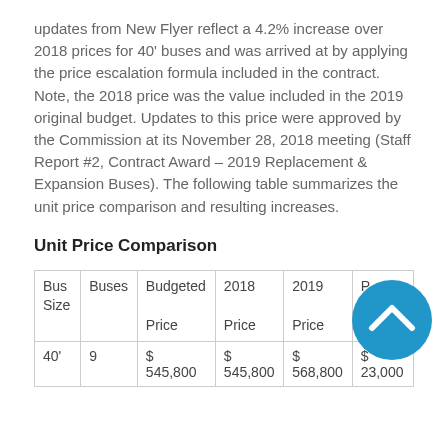updates from New Flyer reflect a 4.2% increase over 2018 prices for 40' buses and was arrived at by applying the price escalation formula included in the contract. Note, the 2018 price was the value included in the 2019 original budget. Updates to this price were approved by the Commission at its November 28, 2018 meeting (Staff Report #2, Contract Award – 2019 Replacement & Expansion Buses). The following table summarizes the unit price comparison and resulting increases.
Unit Price Comparison
| Bus Size | Buses | Budgeted Price | 2018 Price | 2019 Price | Price Increase |
| --- | --- | --- | --- | --- | --- |
| 40' | 9 | $
545,800 | $
545,800 | $
568,800 | $
23,000 |